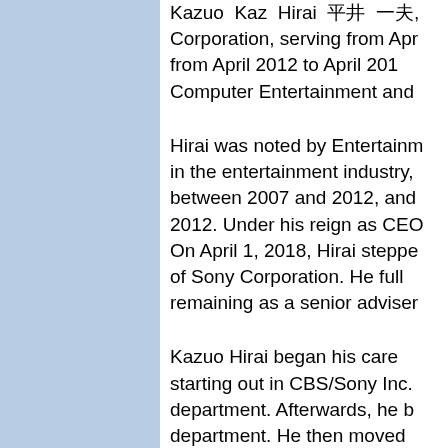Kazuo Kaz Hirai 平井 一夫, Corporation, serving from Apr from April 2012 to April 201 Computer Entertainment and
Hirai was noted by Entertainm in the entertainment industry, between 2007 and 2012, and 2012. Under his reign as CEO On April 1, 2018, Hirai steppe of Sony Corporation. He full remaining as a senior adviser
Kazuo Hirai began his care starting out in CBS/Sony Inc. department. Afterwards, he b department. He then moved marketing of Sony Music Japa